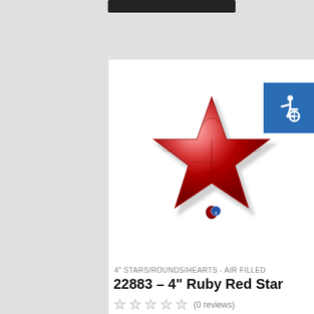[Figure (photo): A red star-shaped foil balloon (Qualatex brand) against a white background. The balloon is ruby red, puffy, with a small Qualatex logo tag at the bottom.]
4" STARS/ROUNDS/HEARTS - AIR FILLED
22883 – 4” Ruby Red Star
(0 reviews)